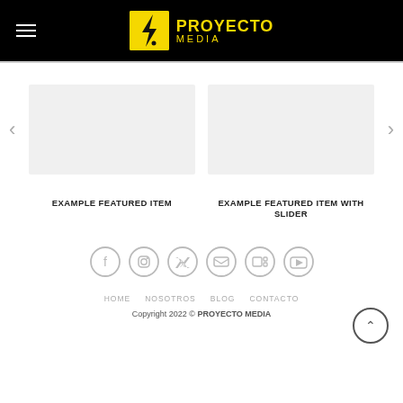PROYECTO MEDIA
[Figure (screenshot): Slider carousel area with left and right navigation arrows, two featured item placeholders]
EXAMPLE FEATURED ITEM
EXAMPLE FEATURED ITEM WITH SLIDER
[Figure (infographic): Social media icons row: Facebook, Instagram, Twitter, Email, LinkedIn, YouTube]
HOME   NOSOTROS   BLOG   CONTACTO
Copyright 2022 © PROYECTO MEDIA